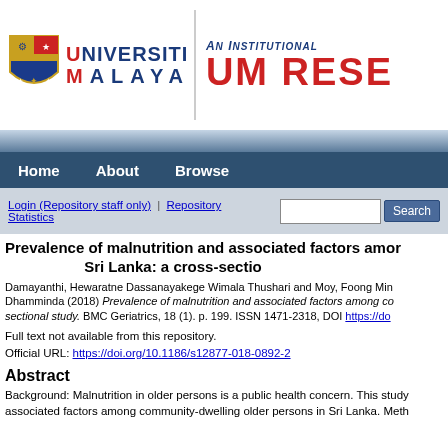[Figure (logo): Universiti Malaya logo with shield and text, and UM Research repository banner on the right]
Home   About   Browse
Login (Repository staff only) | Repository Statistics   [Search box] Search
Prevalence of malnutrition and associated factors among ... Sri Lanka: a cross-sectio...
Damayanthi, Hewaratne Dassanayakege Wimala Thushari and Moy, Foong Min and Dhamminda (2018) Prevalence of malnutrition and associated factors among co... sectional study. BMC Geriatrics, 18 (1). p. 199. ISSN 1471-2318, DOI https://do...
Full text not available from this repository.
Official URL: https://doi.org/10.1186/s12877-018-0892-2
Abstract
Background: Malnutrition in older persons is a public health concern. This study ... associated factors among community-dwelling older persons in Sri Lanka. Meth...